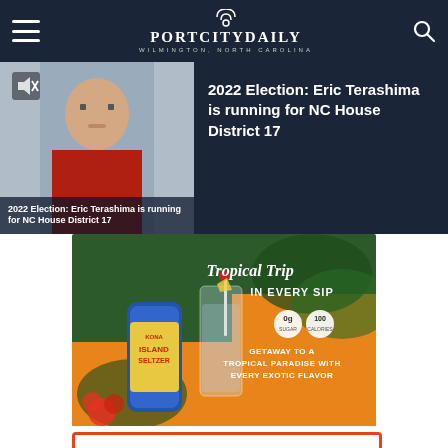PortCityDaily — Wilmington, North Carolina
[Figure (photo): Photo of Eric Terashima, man in red shirt, with article title overlay '2022 Election: Eric Terashima is running for NC House District 17']
2022 Election: Eric Terashima is running for NC House District 17
[Figure (infographic): Kona Island Seltzer advertisement: 'Tropical Trip IN EVERY SIP' with tropical theme, 0g sugar, 100 calories. 'GETAWAY TO A TROPICAL PARADISE WITH EVERY EXOTIC FLAVOR']
[Figure (other): Partial view of another promotional card with orange border at bottom of page]